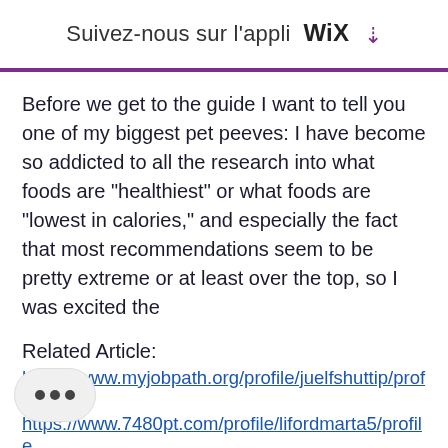Suivez-nous sur l'appli WiX ⬇
Before we get to the guide I want to tell you one of my biggest pet peeves: I have become so addicted to all the research into what foods are "healthiest" or what foods are "lowest in calories," and especially the fact that most recommendations seem to be pretty extreme or at least over the top, so I was excited the
Related Article:
https://www.myjobpath.org/profile/juelfshuttip/profile
https://www.7480pt.com/profile/lifordmarta5/profile
https://www.durhamartgallery.com/profile/keiamadackj/profile
https://www.rch-...com/profile/morozovrustam11462/profile